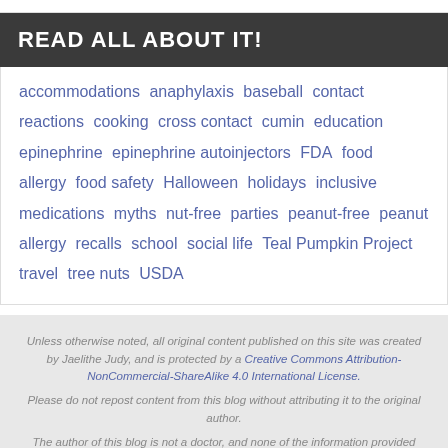READ ALL ABOUT IT!
accommodations anaphylaxis baseball contact reactions cooking cross contact cumin education epinephrine epinephrine autoinjectors FDA food allergy food safety Halloween holidays inclusive medications myths nut-free parties peanut-free peanut allergy recalls school social life Teal Pumpkin Project travel tree nuts USDA
Unless otherwise noted, all original content published on this site was created by Jaelithe Judy, and is protected by a Creative Commons Attribution-NonCommercial-ShareAlike 4.0 International License. Please do not repost content from this blog without attributing it to the original author.
The author of this blog is not a doctor, and none of the information provided here should be considered a substitute for a doctor's advice. For more information, please visit the About page.
POWERED BY PARABOLA & WORDPRESS.